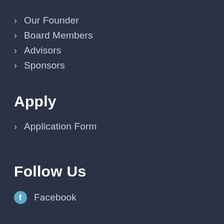Our Founder
Board Members
Advisors
Sponsors
Apply
Application Form
Follow Us
Facebook